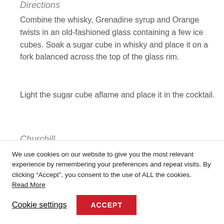Directions
Combine the whisky, Grenadine syrup and Orange twists in an old-fashioned glass containing a few ice cubes. Soak a sugar cube in whisky and place it on a fork balanced across the top of the glass rim.
Light the sugar cube aflame and place it in the cocktail.
Churchill
We use cookies on our website to give you the most relevant experience by remembering your preferences and repeat visits. By clicking “Accept”, you consent to the use of ALL the cookies. Read More
Cookie settings
ACCEPT